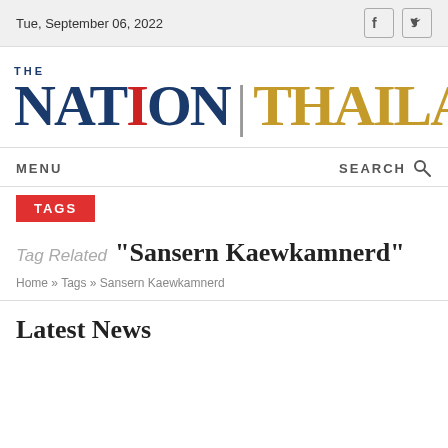Tue, September 06, 2022
[Figure (logo): The Nation Thailand logo — 'THE' in small navy caps above large serif 'NATION' in navy (red I) | 'THAILAND' in gold]
MENU
SEARCH
TAGS
Tag Related "Sansern Kaewkamnerd"
Home » Tags » Sansern Kaewkamnerd
Latest News